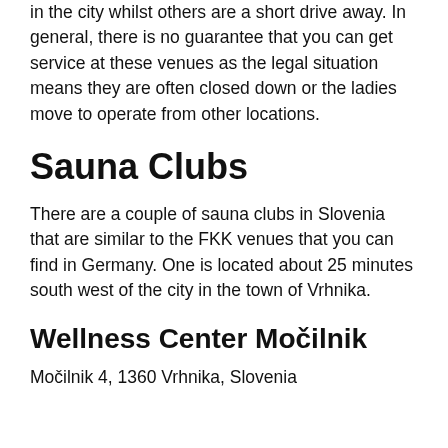in the city whilst others are a short drive away. In general, there is no guarantee that you can get service at these venues as the legal situation means they are often closed down or the ladies move to operate from other locations.
Sauna Clubs
There are a couple of sauna clubs in Slovenia that are similar to the FKK venues that you can find in Germany. One is located about 25 minutes south west of the city in the town of Vrhnika.
Wellness Center Močilnik
Močilnik 4, 1360 Vrhnika, Slovenia